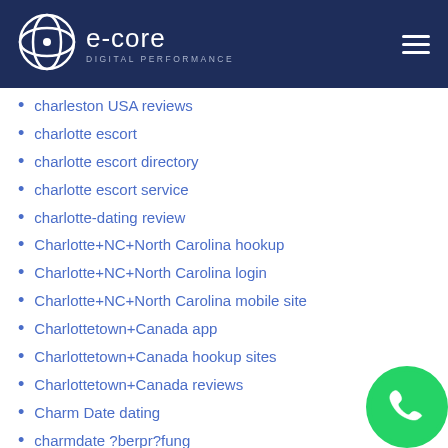e-core DIGITAL PERFORMANCE
charleston USA reviews
charlotte escort
charlotte escort directory
charlotte escort service
charlotte-dating review
Charlotte+NC+North Carolina hookup
Charlotte+NC+North Carolina login
Charlotte+NC+North Carolina mobile site
Charlottetown+Canada app
Charlottetown+Canada hookup sites
Charlottetown+Canada reviews
Charm Date dating
charmdate ?berpr?fung
charmdate adult dating
charmdate chat
charmdate cs review
charmdate fr review
charmdate kortingscode
charmdate pl reviews
CharmDate quizzes
charmdate recenzje
[Figure (logo): WhatsApp contact icon, green circle with phone handset]